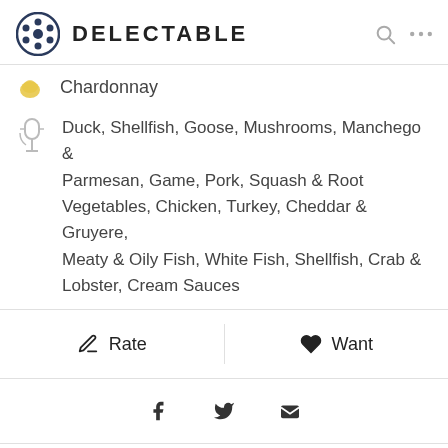DELECTABLE
Chardonnay
Duck, Shellfish, Goose, Mushrooms, Manchego & Parmesan, Game, Pork, Squash & Root Vegetables, Chicken, Turkey, Cheddar & Gruyere, Meaty & Oily Fish, White Fish, Shellfish, Crab & Lobster, Cream Sauces
Rate
Want
TOP NOTES FOR 2016
Peter van den Besselaar  8.5
Vintage 2016